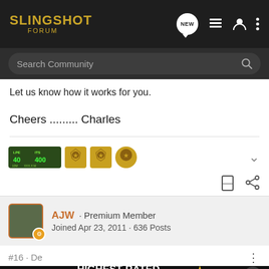SLINGSHOT FORUM
Let us know how it works for you.
Cheers ......... Charles
[Figure (illustration): User badges/achievement icons strip]
AJW · Premium Member
Joined Apr 23, 2011 · 636 Posts
#16 · De
Talking ... lanes
[Figure (infographic): Cabela's advertisement: HIGHEST-RATED GEAR, rating 4.7 stars, binoculars image with play button]